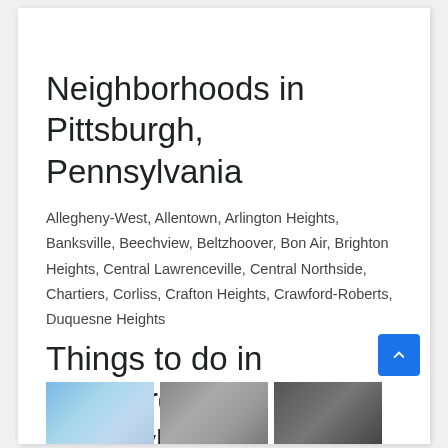Neighborhoods in Pittsburgh, Pennsylvania
Allegheny-West, Allentown, Arlington Heights, Banksville, Beechview, Beltzhoover, Bon Air, Brighton Heights, Central Lawrenceville, Central Northside, Chartiers, Corliss, Crafton Heights, Crawford-Roberts, Duquesne Heights
Things to do in Pittsburgh, Pennsylvania
[Figure (photo): Partial view of three photos at the bottom of the page showing Pittsburgh attractions]